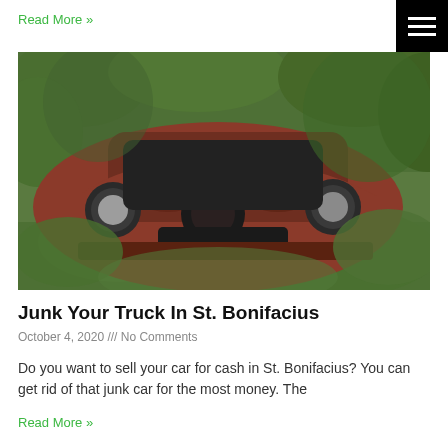Read More »
[Figure (photo): A rusted, deteriorating vintage car body overgrown with green vegetation and shrubs, viewed from the front-left angle.]
Junk Your Truck In St. Bonifacius
October 4, 2020 /// No Comments
Do you want to sell your car for cash in St. Bonifacius? You can get rid of that junk car for the most money. The
Read More »